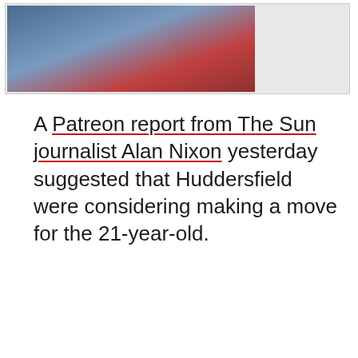[Figure (photo): Partial view of football players in blue training kit, cropped at top of page within a light gray bordered box]
A Patreon report from The Sun journalist Alan Nixon yesterday suggested that Huddersfield were considering making a move for the 21-year-old.